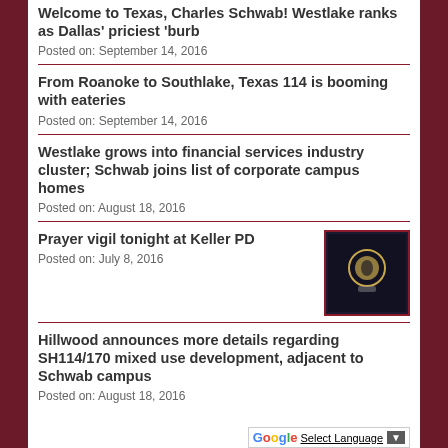Welcome to Texas, Charles Schwab! Westlake ranks as Dallas' priciest 'burb
Posted on: September 14, 2016
From Roanoke to Southlake, Texas 114 is booming with eateries
Posted on: September 14, 2016
Westlake grows into financial services industry cluster; Schwab joins list of corporate campus homes
Posted on: August 18, 2016
Prayer vigil tonight at Keller PD
Posted on: July 8, 2016
[Figure (photo): Dark image with circular badge or emblem, possibly a police badge]
Hillwood announces more details regarding SH114/170 mixed use development, adjacent to Schwab campus
Posted on: August 18, 2016